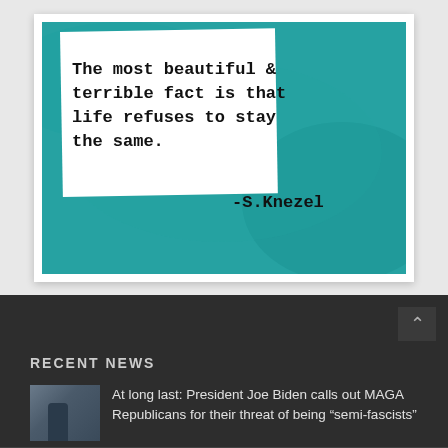[Figure (illustration): A teal/turquoise painted artwork background with a white paper card bearing a handwritten-style quote: 'The most beautiful & terrible fact is that life refuses to stay the same.' Attribution below reads '-S.Knezel'. The whole piece is mounted on a white polaroid-style card with a light gray page background.]
RECENT NEWS
At long last: President Joe Biden calls out MAGA Republicans for their threat of being “semi-fascists”